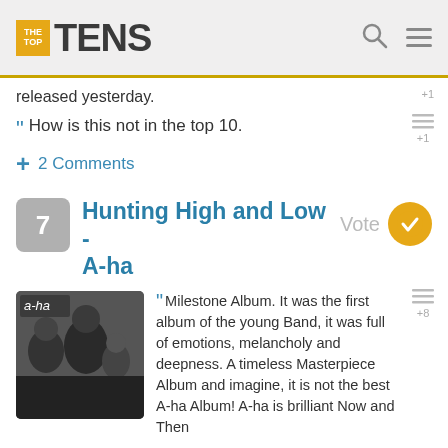TheTopTens
released yesterday.
How is this not in the top 10.
+ 2 Comments
7 Hunting High and Low - A-ha Vote
[Figure (photo): Black and white photo of A-ha band members, album cover for Hunting High and Low]
Milestone Album. It was the first album of the young Band, it was full of emotions, melancholy and deepness. A timeless Masterpiece Album and imagine, it is not the best A-ha Album! A-ha is brilliant Now and Then